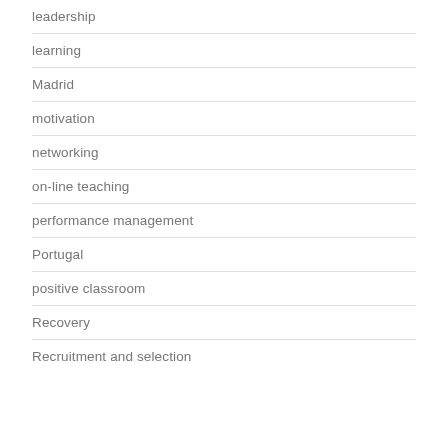leadership
learning
Madrid
motivation
networking
on-line teaching
performance management
Portugal
positive classroom
Recovery
Recruitment and selection